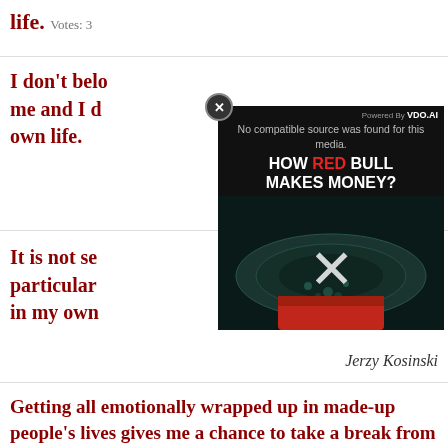life.  Votes: 3
I don't belo... me and I d... own life.
[Figure (screenshot): Video overlay showing 'No compatible source was found for this media.' with title 'HOW RED BULL MAKES MONEY?' and a close button, powered by VDO.AI]
It is not se... particular ... in my own
Jerzy Kosinski
Getting all emotionally wrapped up in made-up people's lives gives me a chance to take a break from my own life [...].  Votes: 3